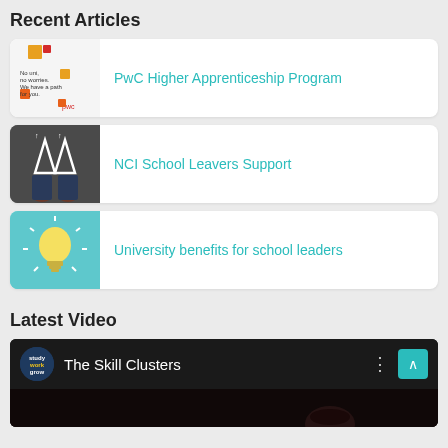Recent Articles
[Figure (illustration): PwC article thumbnail with colorful squares and text 'No uni, no worries. We have a path for you.']
PwC Higher Apprenticeship Program
[Figure (photo): Overhead view of person's feet on pavement with two white chalk arrows pointing upward]
NCI School Leavers Support
[Figure (illustration): Light bulb on teal/cyan background]
University benefits for school leaders
Latest Video
[Figure (screenshot): Video thumbnail with Study Work Grow logo and title 'The Skill Clusters' with menu dots and teal arrow button]